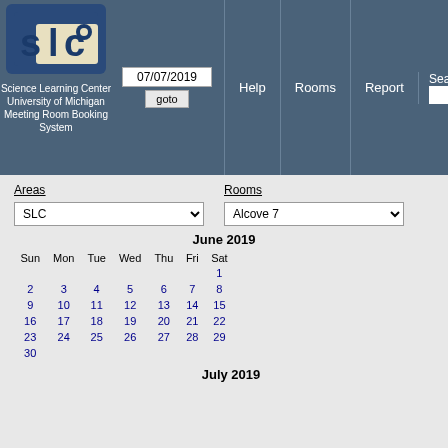[Figure (logo): SLC logo - blue square with 'slc' letters and circular dot element on cream background]
Science Learning Center University of Michigan Meeting Room Booking System
07/07/2019
goto
Help
Rooms
Report
Search:
Areas
SLC
Rooms
Alcove 7
| Sun | Mon | Tue | Wed | Thu | Fri | Sat |
| --- | --- | --- | --- | --- | --- | --- |
|  |  |  |  |  |  | 1 |
| 2 | 3 | 4 | 5 | 6 | 7 | 8 |
| 9 | 10 | 11 | 12 | 13 | 14 | 15 |
| 16 | 17 | 18 | 19 | 20 | 21 | 22 |
| 23 | 24 | 25 | 26 | 27 | 28 | 29 |
| 30 |  |  |  |  |  |  |
July 2019